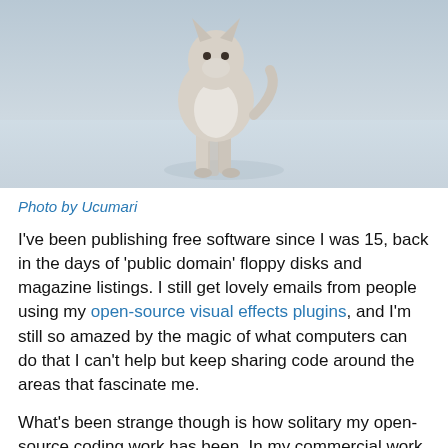[Figure (photo): A white/grey wolf walking toward the camera on a snowy surface]
Photo by Ucumari
I've been publishing free software since I was 15, back in the days of 'public domain' floppy disks and magazine listings. I still get lovely emails from people using my open-source visual effects plugins, and I'm still so amazed by the magic of what computers can do that I can't help but keep sharing code around the areas that fascinate me.
What's been strange though is how solitary my open-source coding work has been. In my commercial work I usually end up being the guy who talks to everyone on the team and knows how all the pieces fit together. Partly